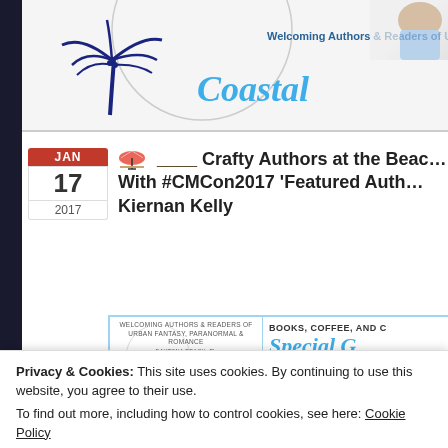[Figure (screenshot): Website header banner showing Coastal Magic Convention logo with palm tree graphic and text 'Welcoming Authors & Readers of Urban [Fantasy]' and a partial image of a figure in the top right corner]
[Figure (screenshot): Calendar date icon showing JAN 17 2017]
Crafty Authors at the Beach With #CMCon2017 'Featured Auth… Kiernan Kelly
[Figure (screenshot): Coastal Magic Convention promotional image split into two panels: left showing Coastal Magic Convention logo with palm tree and text 'WELCOMING AUTHORS & READERS OF URBAN FANTASY, PARANORMAL & ROMANCE'; right showing 'BOOKS, COFFEE, AND [something] Special G[uest] KIERNAN [KELLY]']
Privacy & Cookies: This site uses cookies. By continuing to use this website, you agree to their use.
To find out more, including how to control cookies, see here: Cookie Policy
Close and accept